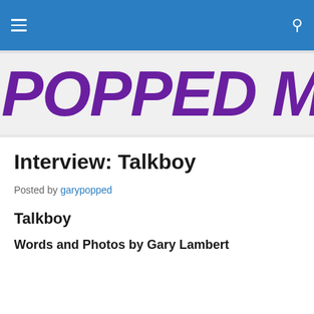POPPED MUSIC.
Interview: Talkboy
Posted by garypopped
Talkboy
Words and Photos by Gary Lambert